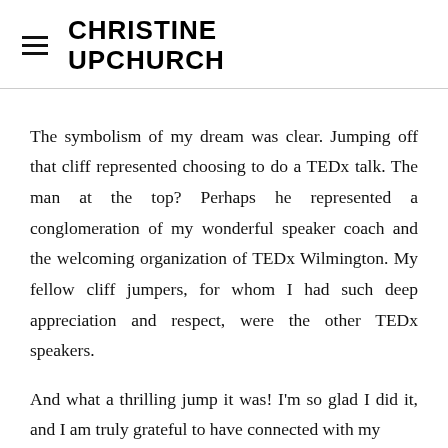CHRISTINE UPCHURCH
The symbolism of my dream was clear. Jumping off that cliff represented choosing to do a TEDx talk. The man at the top? Perhaps he represented a conglomeration of my wonderful speaker coach and the welcoming organization of TEDx Wilmington. My fellow cliff jumpers, for whom I had such deep appreciation and respect, were the other TEDx speakers.
And what a thrilling jump it was! I'm so glad I did it, and I am truly grateful to have connected with my